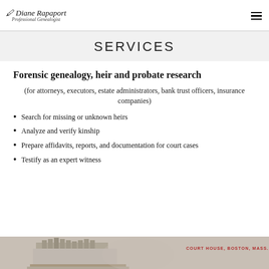Diane Rapaport Professional Genealogist
SERVICES
Forensic genealogy, heir and probate research
(for attorneys, executors, estate administrators, bank trust officers, insurance companies)
Search for missing or unknown heirs
Analyze and verify kinship
Prepare affidavits, reports, and documentation for court cases
Testify as an expert witness
[Figure (photo): Vintage postcard image of Court House, Boston, Mass.]